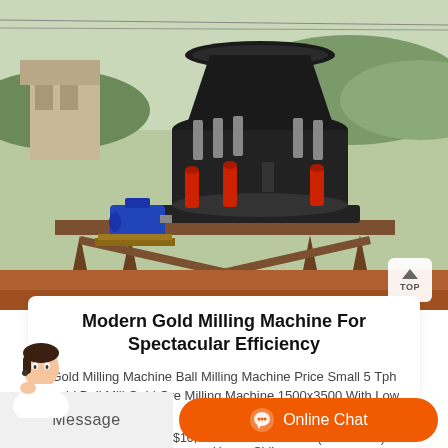[Figure (photo): Industrial gold milling / cone crusher machine mounted on a metal frame structure, outdoors on red soil with a building and green hills in the background. A blue electric motor is visible on the left side. Red hydraulic cylinders and springs visible on the machine.]
Modern Gold Milling Machine For Spectacular Efficiency
Gold Milling Machine Ball Milling Machine Price Small 5 Tph Gold Ball Mill Gold Ore Milling Machine 1500x3500 With Low Price.
$9,800.00-$10,000.00/ Set. 1.0 Sets (Min. Order) Henan Shibo